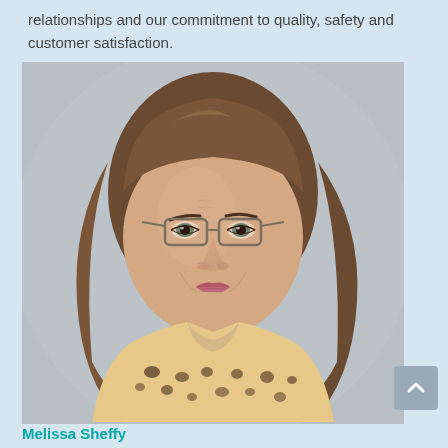relationships and our commitment to quality, safety and customer satisfaction.
[Figure (photo): Professional headshot of a woman with shoulder-length brown hair, wearing glasses and a leopard-print blouse, against a neutral grey background.]
Melissa Sheffy